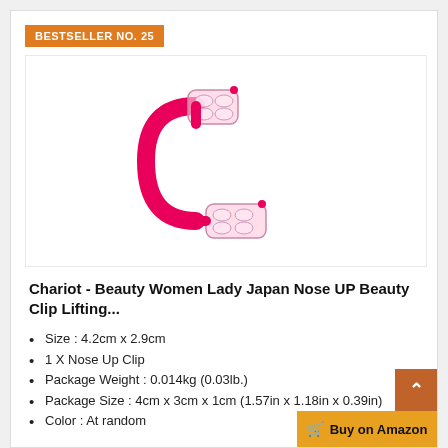BESTSELLER NO. 25
[Figure (photo): Pink and clear plastic nose up beauty clip device against white background]
Chariot - Beauty Women Lady Japan Nose UP Beauty Clip Lifting...
Size : 4.2cm x 2.9cm
1 X Nose Up Clip
Package Weight : 0.014kg (0.03lb.)
Package Size : 4cm x 3cm x 1cm (1.57in x 1.18in x 0.39in)
Color : At random